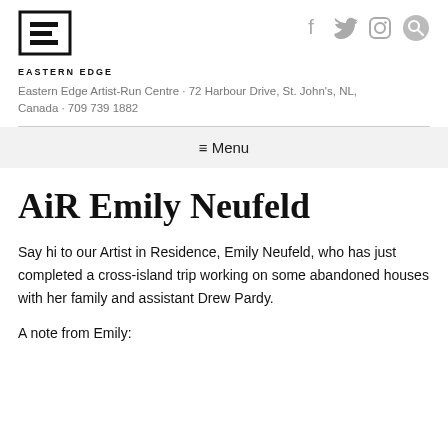[Figure (logo): Eastern Edge logo: stylized double E made of horizontal bars, with text 'EASTERN EDGE' below]
[Figure (infographic): Social media icons: Facebook, Twitter, Instagram, and Search (magnifying glass) in gray]
Eastern Edge Artist-Run Centre · 72 Harbour Drive, St. John's, NL, Canada · 709 739 1882
≡ Menu
AiR Emily Neufeld
Say hi to our Artist in Residence, Emily Neufeld, who has just completed a cross-island trip working on some abandoned houses with her family and assistant Drew Pardy.
A note from Emily: